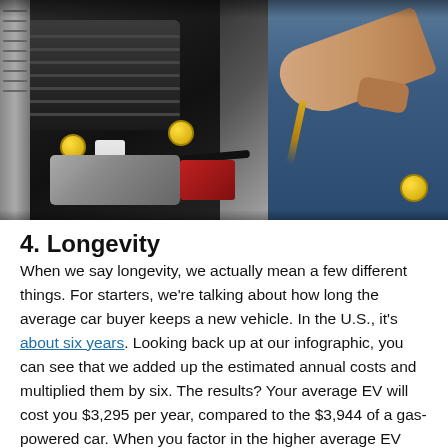[Figure (photo): Close-up photo of a car engine bay with a mechanic's hand pouring oil/fluid into the engine. Yellow fluid caps are visible. Red battery box and silver engine components visible. Background shows a person in blue clothing.]
4. Longevity
When we say longevity, we actually mean a few different things. For starters, we're talking about how long the average car buyer keeps a new vehicle. In the U.S., it's about six years. Looking back up at our infographic, you can see that we added up the estimated annual costs and multiplied them by six. The results? Your average EV will cost you $3,295 per year, compared to the $3,944 of a gas-powered car. When you factor in the higher average EV purchase price though, gas-powered cars actually